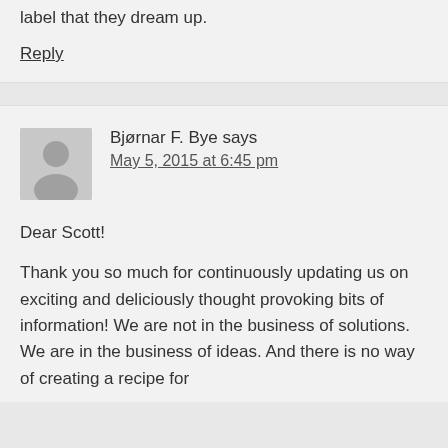label that they dream up.
Reply
Bjørnar F. Bye says
May 5, 2015 at 6:45 pm
Dear Scott!
Thank you so much for continuously updating us on exciting and deliciously thought provoking bits of information! We are not in the business of solutions. We are in the business of ideas. And there is no way of creating a recipe for